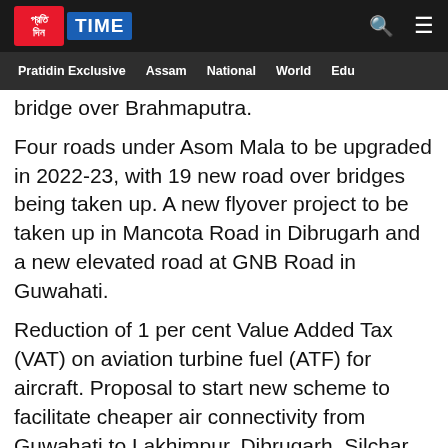Pratidin TIME — navigation bar with logo, search and menu icons. Nav items: Pratidin Exclusive, Assam, National, World, Edu
bridge over Brahmaputra.
Four roads under Asom Mala to be upgraded in 2022-23, with 19 new road over bridges being taken up. A new flyover project to be taken up in Mancota Road in Dibrugarh and a new elevated road at GNB Road in Guwahati.
Reduction of 1 per cent Value Added Tax (VAT) on aviation turbine fuel (ATF) for aircraft. Proposal to start new scheme to facilitate cheaper air connectivity from Guwahati to Lakhimpur, Dibrugarh, Silchar and Tezpur.
Proposal for new airports in Karbi Anglong and Silchar, along with three new heliports at Nagaon, Geleki and